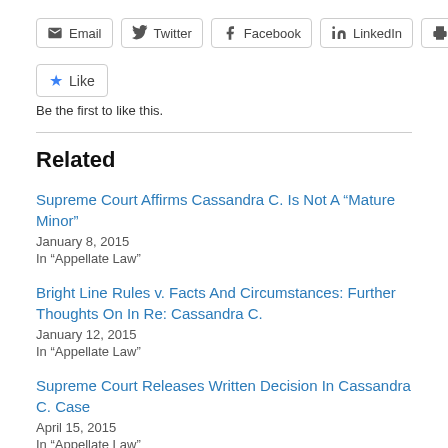Email
Twitter
Facebook
LinkedIn
Print
★ Like
Be the first to like this.
Related
Supreme Court Affirms Cassandra C. Is Not A “Mature Minor”
January 8, 2015
In “Appellate Law”
Bright Line Rules v. Facts And Circumstances: Further Thoughts On In Re: Cassandra C.
January 12, 2015
In “Appellate Law”
Supreme Court Releases Written Decision In Cassandra C. Case
April 15, 2015
In “Appellate Law”